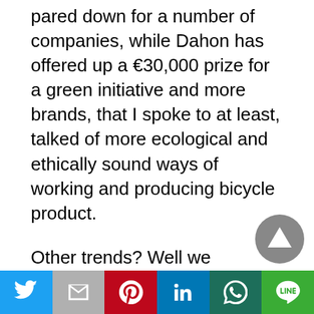pared down for a number of companies, while Dahon has offered up a €30,000 prize for a green initiative and more brands, that I spoke to at least, talked of more ecological and ethically sound ways of working and producing bicycle product.
Other trends? Well we certainly spotted more dogs being led around the Friedrichshafen halls this year, but that isn't likely to have much impact on the UK bike market. There were also plenty of scooters being used to get around the halls, which was an interesting statement coming from a crowd of bicycle enthusiasts.